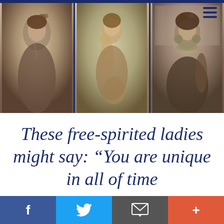[Figure (photo): Three vintage sepia-toned photographs of women in early 20th century bohemian/gypsy style dress and jewelry, displayed side by side]
These free-spirited ladies might say: “You are unique in all of time